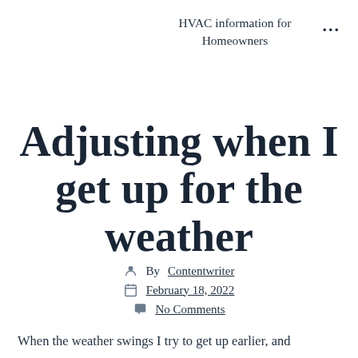HVAC information for Homeowners
Adjusting when I get up for the weather
By Contentwriter
February 18, 2022
No Comments
When the weather swings I try to get up earlier, and